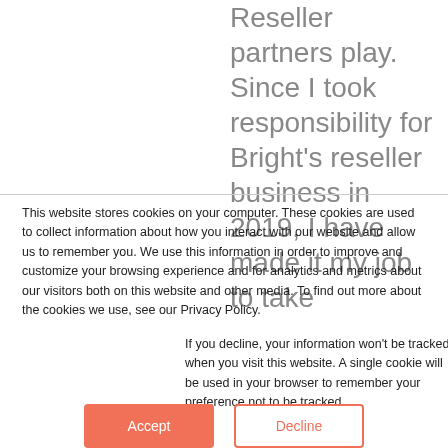Reseller partners play. Since I took responsibility for Bright's reseller business in 2019, I have made it my job to take
This website stores cookies on your computer. These cookies are used to collect information about how you interact with our website and allow us to remember you. We use this information in order to improve and customize your browsing experience and for analytics and metrics about our visitors both on this website and other media. To find out more about the cookies we use, see our Privacy Policy.
If you decline, your information won't be tracked when you visit this website. A single cookie will be used in your browser to remember your preference not to be tracked.